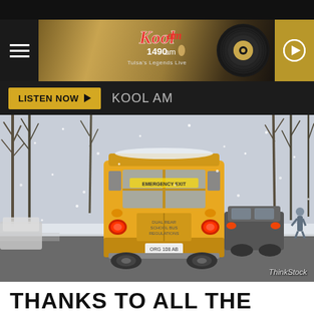[Figure (screenshot): Kool AM 1490 radio station website header with logo, hamburger menu, vinyl record graphic, and gold play button]
LISTEN NOW ► KOOL AM
[Figure (photo): School bus driving in heavy snow storm with other vehicles on a snowy road, trees in background, ThinkStock credit]
ThinkStock
THANKS TO ALL THE SNOW ONE